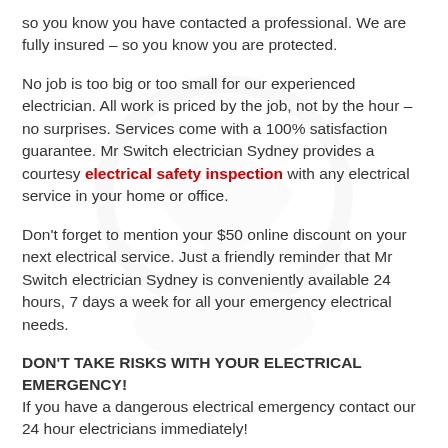so you know you have contacted a professional. We are fully insured – so you know you are protected.
No job is too big or too small for our experienced electrician. All work is priced by the job, not by the hour – no surprises. Services come with a 100% satisfaction guarantee. Mr Switch electrician Sydney provides a courtesy electrical safety inspection with any electrical service in your home or office.
Don't forget to mention your $50 online discount on your next electrical service. Just a friendly reminder that Mr Switch electrician Sydney is conveniently available 24 hours, 7 days a week for all your emergency electrical needs.
DON'T TAKE RISKS WITH YOUR ELECTRICAL EMERGENCY!
If you have a dangerous electrical emergency contact our 24 hour electricians immediately!
Call 1300 100 102 for immediate assistance